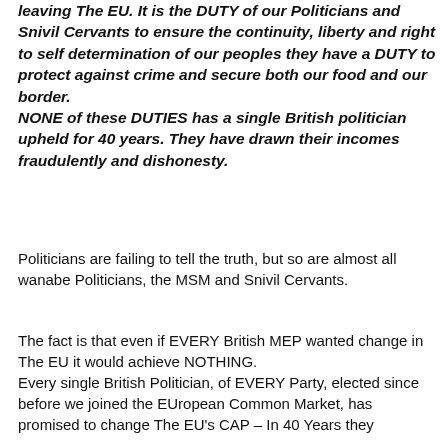leaving The EU. It is the DUTY of our Politicians and Snivil Cervants to ensure the continuity, liberty and right to self determination of our peoples they have a DUTY to protect against crime and secure both our food and our border.
NONE of these DUTIES has a single British politician upheld for 40 years. They have drawn their incomes fraudulently and dishonesty.
Politicians are failing to tell the truth, but so are almost all wanabe Politicians, the MSM and Snivil Cervants.
The fact is that even if EVERY British MEP wanted change in The EU it would achieve NOTHING.
Every single British Politician, of EVERY Party, elected since before we joined the EUropean Common Market, has promised to change The EU's CAP – In 40 Years they